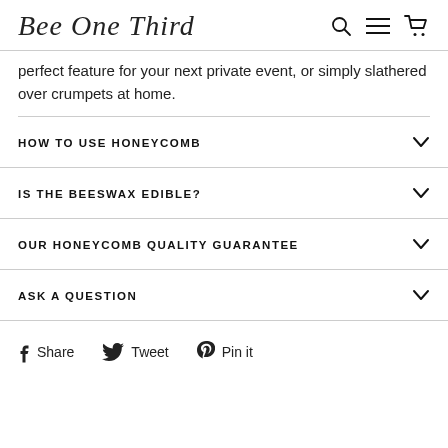Bee One Third
perfect feature for your next private event, or simply slathered over crumpets at home.
HOW TO USE HONEYCOMB
IS THE BEESWAX EDIBLE?
OUR HONEYCOMB QUALITY GUARANTEE
ASK A QUESTION
Share  Tweet  Pin it